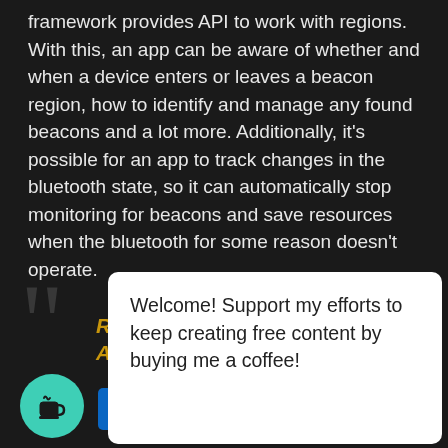framework provides API to work with regions. With this, an app can be aware of whether and when a device enters or leaves a beacon region, how to identify and manage any found beacons and a lot more. Additionally, it's possible for an app to track changes in the bluetooth state, so it can automatically stop monitoring for beacons and save resources when the bluetooth for some reason doesn't operate.
[Figure (screenshot): Large decorative quotation marks in dark gray on black background, followed by orange italic text partially visible (Re... Ap...), a circular teal coffee cup icon button, a LinkedIn icon, and an Email button on the right. A white popup overlay is displayed over the lower right portion with the text: Welcome! Support my efforts to keep creating free content by buying me a coffee!]
Welcome! Support my efforts to keep creating free content by buying me a coffee!